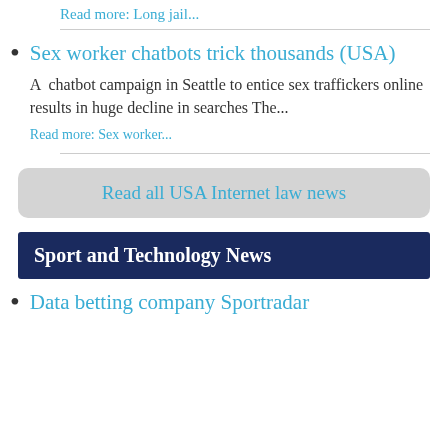Read more: Long jail...
Sex worker chatbots trick thousands (USA)
A chatbot campaign in Seattle to entice sex traffickers online results in huge decline in searches The...
Read more: Sex worker...
Read all USA Internet law news
Sport and Technology News
Data betting company Sportradar